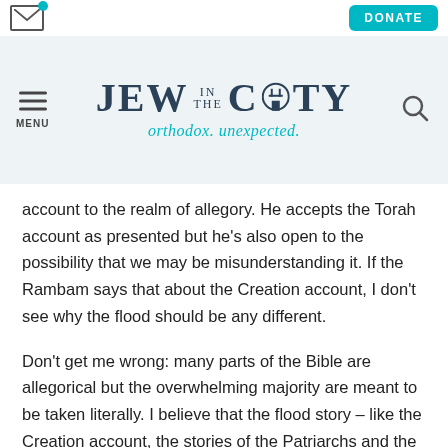Jew in the City — orthodox. unexpected.
account to the realm of allegory. He accepts the Torah account as presented but he's also open to the possibility that we may be misunderstanding it. If the Rambam says that about the Creation account, I don't see why the flood should be any different.
Don't get me wrong: many parts of the Bible are allegorical but the overwhelming majority are meant to be taken literally. I believe that the flood story – like the Creation account, the stories of the Patriarchs and the Exodus – are among those that are meant to be taken literally. But the Torah is not primarily a history book or a science book. If, for some reason, you can't